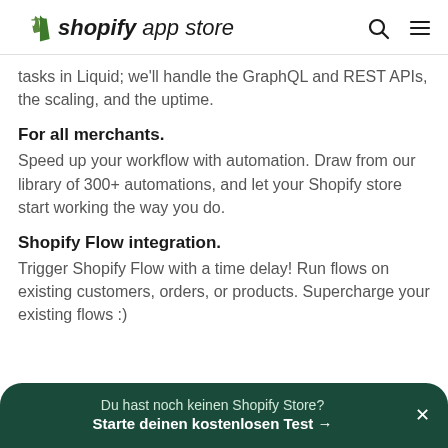shopify app store
tasks in Liquid; we'll handle the GraphQL and REST APIs, the scaling, and the uptime.
For all merchants.
Speed up your workflow with automation. Draw from our library of 300+ automations, and let your Shopify store start working the way you do.
Shopify Flow integration.
Trigger Shopify Flow with a time delay! Run flows on existing customers, orders, or products. Supercharge your existing flows :)
Du hast noch keinen Shopify Store? Starte deinen kostenlosen Test →